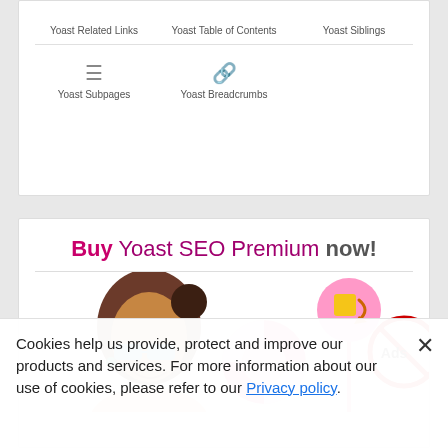[Figure (screenshot): Top card showing Yoast plugin widget icons grid with labels: Yoast Related Links, Yoast Table of Contents, Yoast Siblings (top row names), then icon symbols for Yoast Subpages and Yoast Breadcrumbs]
[Figure (screenshot): Bottom promotional card: 'Buy Yoast SEO Premium now!' heading with illustration of a woman with glasses surrounded by SEO-related icons (lifesaver, redirect arrow, no-ads sign)]
Cookies help us provide, protect and improve our products and services. For more information about our use of cookies, please refer to our Privacy policy.